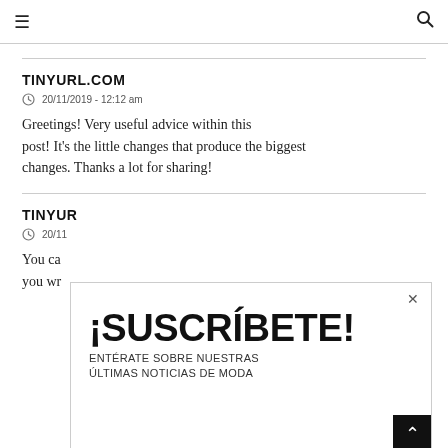☰  🔍
TINYURL.COM
20/11/2019 - 12:12 am
Greetings! Very useful advice within this post! It's the little changes that produce the biggest changes. Thanks a lot for sharing!
TINYUR...
20/11...
You ca... you wr...
[Figure (other): Popup overlay with subscription call-to-action: '¡SUSCRÍBETE!' in large bold text, subtitle 'ENTÉRATE SOBRE NUESTRAS ÚLTIMAS NOTICIAS DE MODA', with a close (×) button and a scroll-to-top arrow button.]